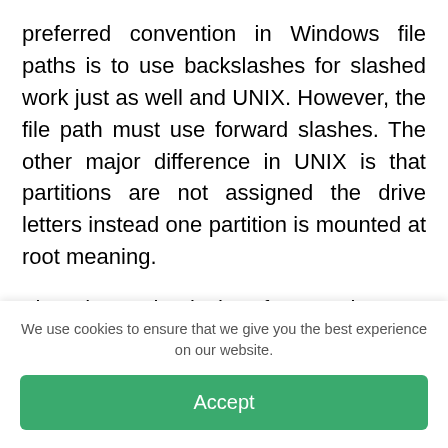preferred convention in Windows file paths is to use backslashes for slashed work just as well and UNIX. However, the file path must use forward slashes. The other major difference in UNIX is that partitions are not assigned the drive letters instead one partition is mounted at root meaning.
That the path slash refers to the root directory on that partitions each additional partition is then made accessible by mounting it to some directory on some other already mounted
We use cookies to ensure that we give you the best experience on our website.
Accept